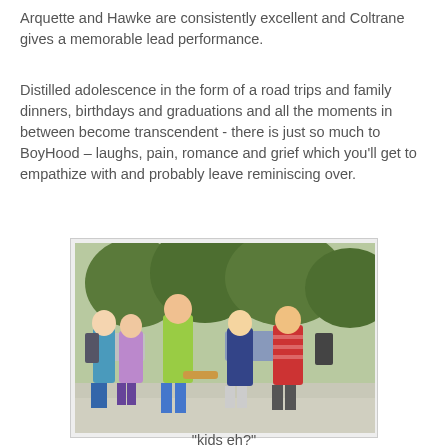Arquette and Hawke are consistently excellent and Coltrane gives a memorable lead performance.
Distilled adolescence in the form of a road trips and family dinners, birthdays and graduations and all the moments in between become transcendent - there is just so much to BoyHood – laughs, pain, romance and grief which you'll get to empathize with and probably leave reminiscing over.
[Figure (photo): Group of children walking outdoors on a suburban sidewalk, with trees in the background. Several kids with backpacks and casual clothes.]
"kids eh?"